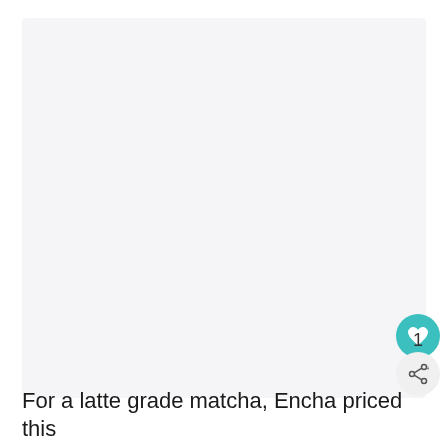[Figure (photo): Large light gray/white blank image area, likely a product photo placeholder for matcha product]
For a latte grade matcha, Encha priced this